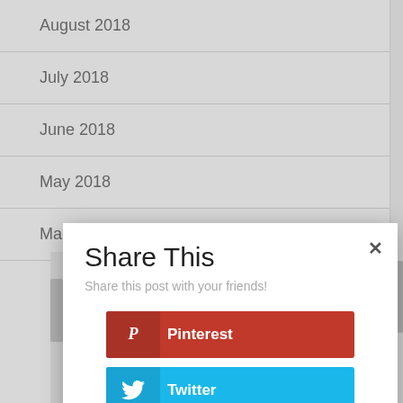August 2018
July 2018
June 2018
May 2018
March 2018
Share This
Share this post with your friends!
Pinterest
Twitter